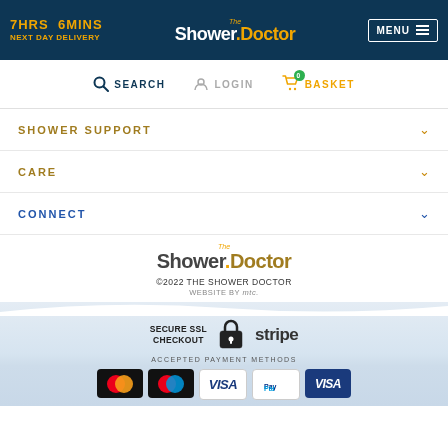7HRS 6MINS NEXT DAY DELIVERY | The Shower Doctor | MENU
SEARCH | LOGIN | BASKET
SHOWER SUPPORT
CARE
CONNECT
[Figure (logo): The Shower Doctor logo with 'The' in italic gold, 'Shower' in dark and 'Doctor' in gold]
©2022 THE SHOWER DOCTOR
WEBSITE BY mtc.
SECURE SSL CHECKOUT
[Figure (illustration): Lock icon and Stripe logo for secure checkout]
ACCEPTED PAYMENT METHODS
[Figure (illustration): Payment method logos: Mastercard, Mastercard variant, Visa, PayPal, Visa Electron]